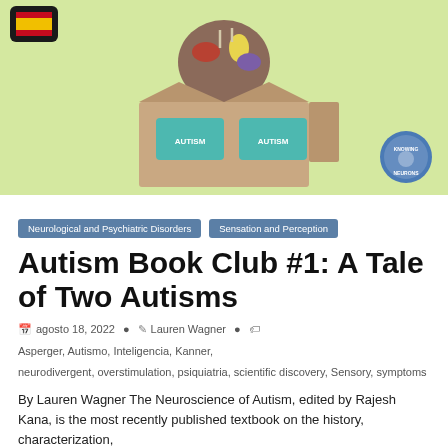[Figure (illustration): Hero image showing a cartoon bookstore/shop with teal-colored windows labeled 'AUTISM', colorful items on top, set against a light green background. A Spanish flag badge is in the top-left corner and a 'Knowing Neurons' circular badge is in the bottom-right corner.]
Neurological and Psychiatric Disorders
Sensation and Perception
Autism Book Club #1: A Tale of Two Autisms
agosto 18, 2022  Lauren Wagner  Asperger, Autismo, Inteligencia, Kanner, neurodivergent, overstimulation, psiquiatria, scientific discovery, Sensory, symptoms
By Lauren Wagner The Neuroscience of Autism, edited by Rajesh Kana, is the most recently published textbook on the history, characterization,